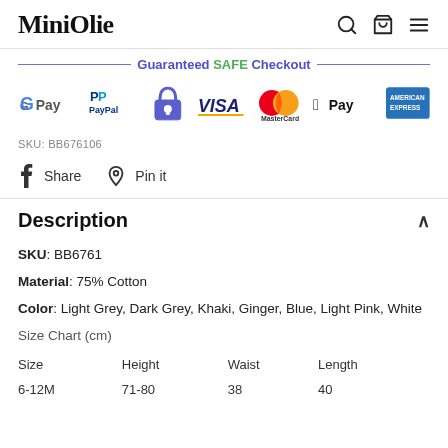MiniOlie
[Figure (infographic): Guaranteed SAFE Checkout banner with payment method logos: Google Pay, PayPal, Secure (padlock), VISA, MasterCard, Apple Pay, American Express]
SKU: BB676106
Share   Pin it
Description
SKU: BB6761
Material: 75% Cotton
Color: Light Grey, Dark Grey, Khaki, Ginger, Blue, Light Pink, White
Size Chart (cm)
| Size | Height | Waist | Length |
| --- | --- | --- | --- |
| 6-12M | 71-80 | 38 | 40 |